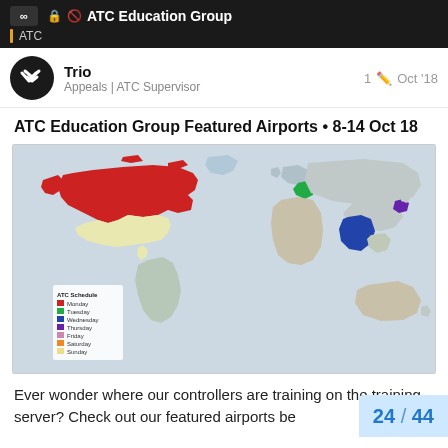ATC Education Group — ATC
Trio
Appeals | ATC Supervisor
1  Oct '18
ATC Education Group Featured Airports • 8-14 Oct 18
[Figure (map): World map showing ATC Schedule featured airports for 8-14 Oct 18. Canada highlighted in red (Monday), a region in central Europe/Poland area in green (Tuesday), India in blue (Wednesday), a small area near East Asia in purple (Thursday). Legend shows: Monday (red), Tuesday (green), Wednesday (blue), Thursday (purple), Friday (pink), Saturday (orange), Sunday (yellow).]
Ever wonder where our controllers are training on the training server? Check out our featured airports be…